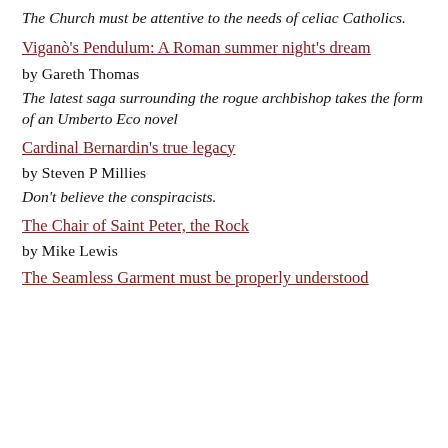The Church must be attentive to the needs of celiac Catholics.
Viganò's Pendulum: A Roman summer night's dream
by Gareth Thomas
The latest saga surrounding the rogue archbishop takes the form of an Umberto Eco novel
Cardinal Bernardin's true legacy
by Steven P Millies
Don't believe the conspiracists.
The Chair of Saint Peter, the Rock
by Mike Lewis
The Seamless Garment must be properly understood